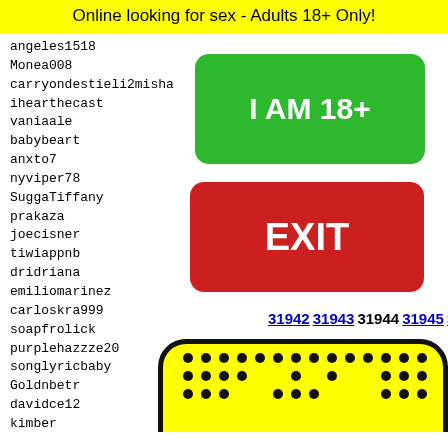Online looking for sex - Adults 18+ Only!
angeles1518
Monea008
carryondestieli2misha
ihearthecast
vaniaale
babybeart
anxto7
nyviper78
SuggaTiffany
prakaza
joecisner
tiwiappnb
dridriana
emiliomarinez
carloskra999
soapfrolick
purplehazzze20
songlyricbaby
Goldnbetr
davidce12
kimber
kamikz
fairvi
plumpl
piotr7
connie
[Figure (illustration): Green button with text I AM 18+]
[Figure (illustration): Red button with text EXIT]
31942 31943 31944 31945 31946
[Figure (illustration): Yellow emoji-style face with dot pattern and bow-tie, rounded rectangle with black border]